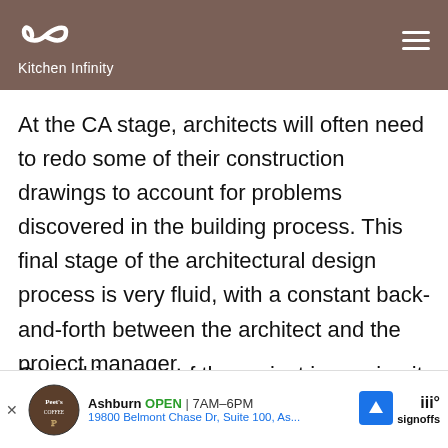Kitchen Infinity
At the CA stage, architects will often need to redo some of their construction drawings to account for problems discovered in the building process. This final stage of the architectural design process is very fluid, with a constant back-and-forth between the architect and the project manager.
Once this stage of the project is nearing its end and the building is complete, there will be special inspections and signoffs